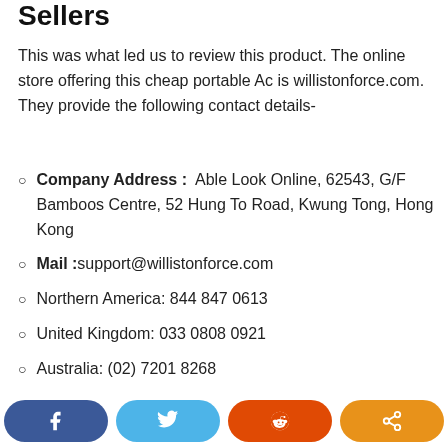Sellers
This was what led us to review this product. The online store offering this cheap portable Ac is willistonforce.com. They provide the following contact details-
Company Address :  Able Look Online, 62543, G/F Bamboos Centre, 52 Hung To Road, Kwung Tong, Hong Kong
Mail :support@willistonforce.com
Northern America: 844 847 0613
United Kingdom: 033 0808 0921
Australia: (02) 7201 8268
[Figure (infographic): Social sharing buttons: Facebook, Twitter, Reddit, Share]